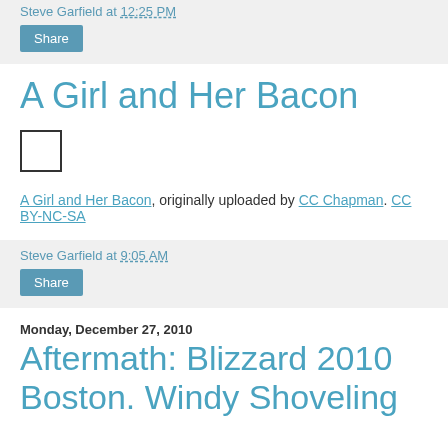Steve Garfield at 12:25 PM
Share
A Girl and Her Bacon
[Figure (other): Small empty image placeholder checkbox]
A Girl and Her Bacon, originally uploaded by CC Chapman. CC BY-NC-SA
Steve Garfield at 9:05 AM
Share
Monday, December 27, 2010
Aftermath: Blizzard 2010 Boston. Windy Shoveling